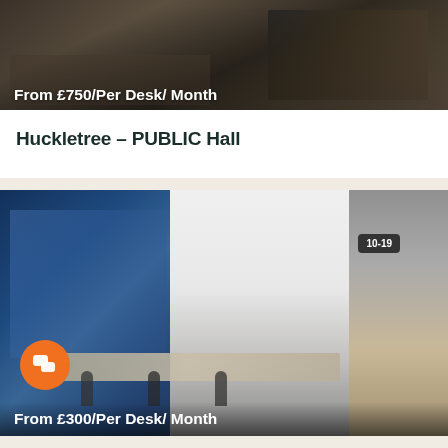[Figure (photo): Dark office workspace with desks and chairs, partially visible, dark brown/grey tones]
From £750/Per Desk/ Month
Huckletree – PUBLIC Hall
[Figure (photo): Modern bright office space with large windows showing city view on the left, white walls, conference table with dark mesh chairs, a badge showing 10-19, and an orange chat button overlay]
From £300/Per Desk/ Month